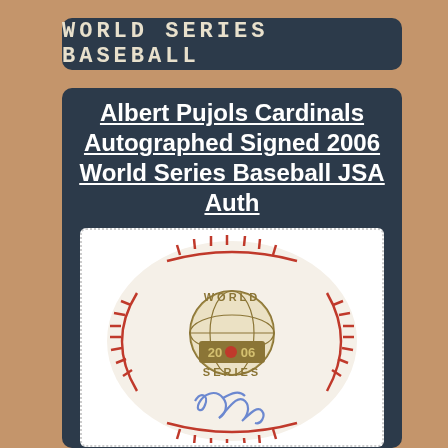WORLD SERIES BASEBALL
Albert Pujols Cardinals Autographed Signed 2006 World Series Baseball JSA Auth
[Figure (photo): A 2006 World Series baseball with red stitching and gold 'World Series 2006' logo stamp, with a blue ink autograph signature at the bottom center.]